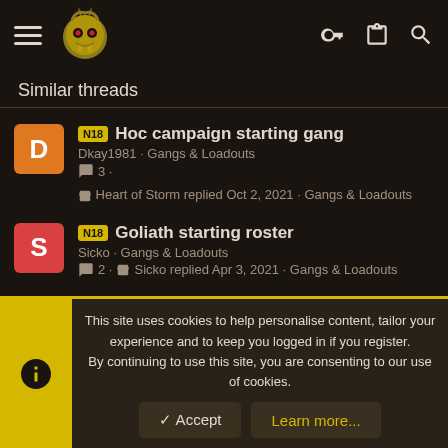Navigation header with hamburger menu, logo, key icon, clipboard icon, search icon
Similar threads
N18 Hoc campaign starting gang
Dkay1981 · Gangs & Loadouts
3 ·
Heart of Storm replied Oct 2, 2021 · Gangs & Loadouts
N18 Goliath starting roster
Sicko · Gangs & Loadouts
2 · Sicko replied Apr 3, 2021 · Gangs & Loadouts
This site uses cookies to help personalise content, tailor your experience and to keep you logged in if you register.
By continuing to use this site, you are consenting to our use of cookies.
Accept Learn more...